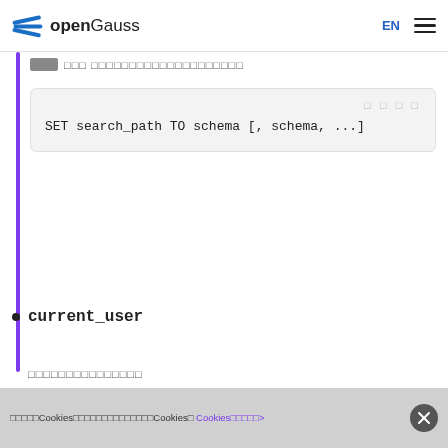openGauss | EN
□□□ □□□□□□□□□□□□□□□□□□□□
[Figure (screenshot): Code block showing: SET search_path TO schema [, schema, ...]]
current_user
□□□□□□□□□□□□□□□
□□□□□□name
□□□
[Figure (screenshot): Partially visible code block at bottom]
□□□□□Cookies□□□□□□□□□□□□□□Cookies□ Cookies□□□□□>